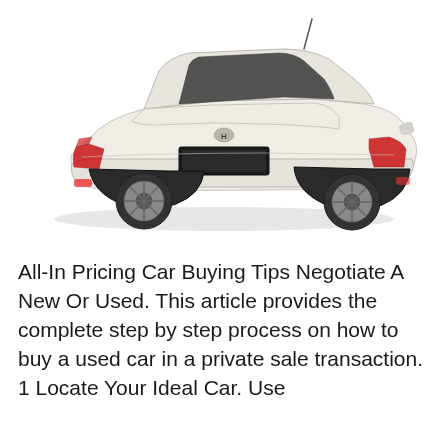[Figure (photo): Rear three-quarter view of a white Hyundai Accent sedan on a white background]
All-In Pricing Car Buying Tips Negotiate A New Or Used. This article provides the complete step by step process on how to buy a used car in a private sale transaction. 1 Locate Your Ideal Car. Use